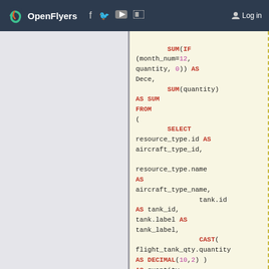OpenFlyers | Log in
SQL code snippet showing SUM(IF(month_num=12, quantity, 0)) AS Dece, SUM(quantity) AS SUM FROM ( SELECT resource_type.id AS aircraft_type_id, resource_type.name AS aircraft_type_name, tank.id AS tank_id, tank.label AS tank_label, CAST(flight_tank_qty.quantity AS DECIMAL(10,2) ) AS quantity, MONTH(flight.start_date) AS month_num